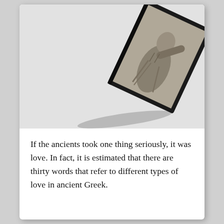[Figure (photo): A black and white photograph of a framed artwork or book featuring a classical figure, tilted at an angle casting a shadow on a light grey background.]
If the ancients took one thing seriously, it was love. In fact, it is estimated that there are thirty words that refer to different types of love in ancient Greek.